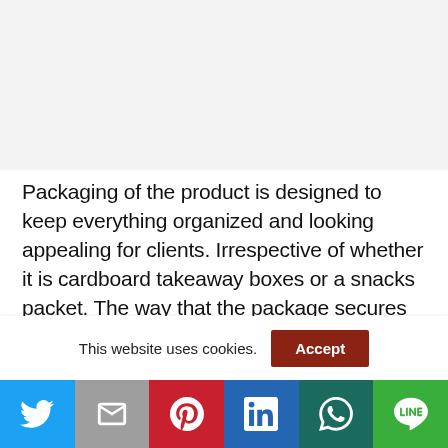[Figure (other): Gray placeholder/advertisement area at the top of the page]
Packaging of the product is designed to keep everything organized and looking appealing for clients. Irrespective of whether it is cardboard takeaway boxes or a snacks packet. The way that the package secures its contents as well as
This website uses cookies.
[Figure (other): Social sharing bar with icons for Twitter, Gmail, Pinterest, LinkedIn, WhatsApp, and LINE]